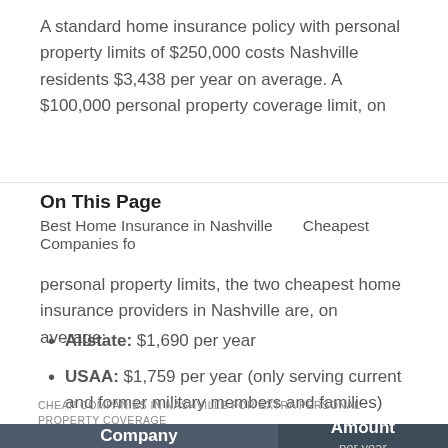A standard home insurance policy with personal property limits of $250,000 costs Nashville residents $3,438 per year on average. A $100,000 personal property coverage limit, on
On This Page
Best Home Insurance in Nashville    Cheapest Companies fo
personal property limits, the two cheapest home insurance providers in Nashville are, on average:
Allstate: $1,690 per year
USAA: $1,759 per year (only serving current and former military members and families)
CHEAP COMPANIES IN NASHVILLE FOR EXTRA PERSONAL PROPERTY COVERAGE
| Company | Amount per year |
| --- | --- |